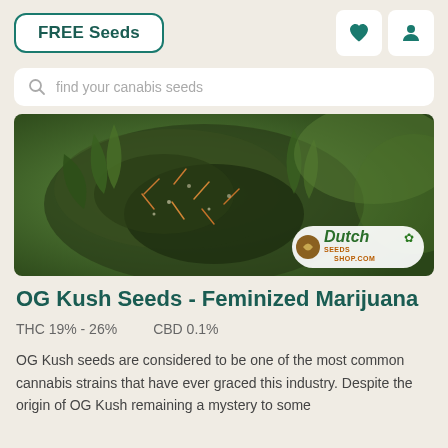FREE Seeds
find your canabis seeds
[Figure (photo): Close-up photo of a cannabis bud with green leaves and orange pistils, featuring Dutch Seeds Shop logo in bottom right corner]
OG Kush Seeds - Feminized Marijuana
THC 19% - 26%    CBD 0.1%
OG Kush seeds are considered to be one of the most common cannabis strains that have ever graced this industry. Despite the origin of OG Kush remaining a mystery to some